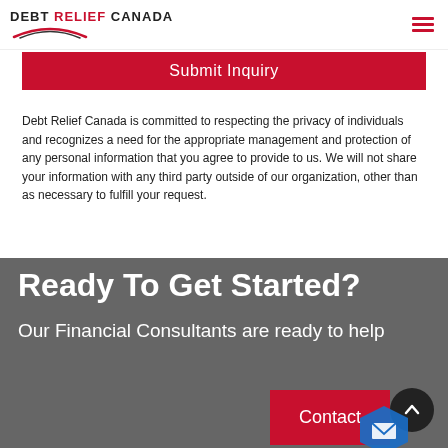DEBT RELIEF CANADA
Submit Inquiry
Debt Relief Canada is committed to respecting the privacy of individuals and recognizes a need for the appropriate management and protection of any personal information that you agree to provide to us. We will not share your information with any third party outside of our organization, other than as necessary to fulfill your request.
Ready To Get Started?
Our Financial Consultants are ready to help
Contact